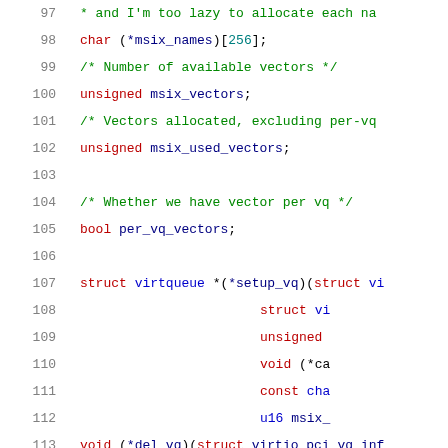Source code listing, lines 97–117, C language struct definition with MSI-X and virtqueue function pointers.